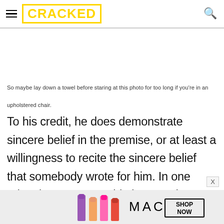CRACKED
So maybe lay down a towel before staring at this photo for too long if you're in an upholstered chair.
To his credit, he does demonstrate sincere belief in the premise, or at least a willingness to recite the sincere belief that somebody wrote for him. In one advertisement, Ronaldo is quoted saying, "In my everyday training sessions, there is one area of my body that I hadn't been exercising: my facial muscles
[Figure (other): MAC cosmetics advertisement banner at bottom of page showing lipsticks, MAC logo, and SHOP NOW button]